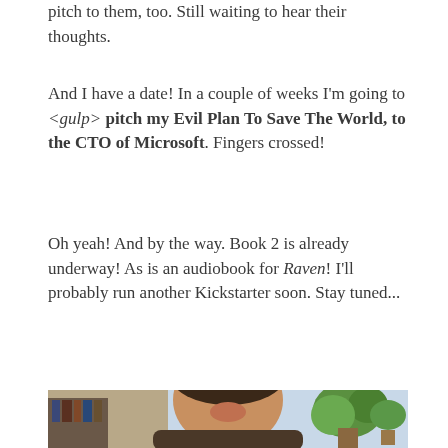pitch to them, too. Still waiting to hear their thoughts.
And I have a date! In a couple of weeks I'm going to <gulp> pitch my Evil Plan To Save The World, to the CTO of Microsoft. Fingers crossed!
Oh yeah! And by the way. Book 2 is already underway! As is an audiobook for Raven! I'll probably run another Kickstarter soon. Stay tuned...
[Figure (photo): Photo of a man smiling/laughing, with plants and a light blue background visible behind him. The image is cropped at the bottom of the page.]